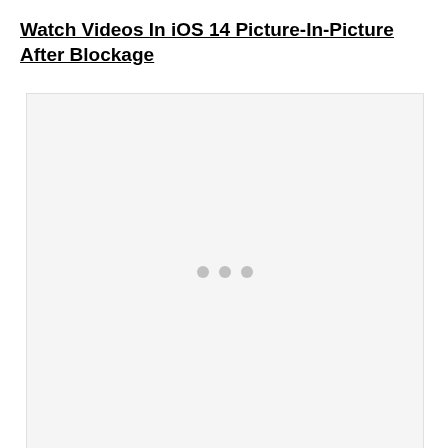Watch Videos In iOS 14 Picture-In-Picture After Blockage
[Figure (other): A light gray video placeholder box with three small gray loading dots centered in the middle, indicating a video is loading or unavailable.]